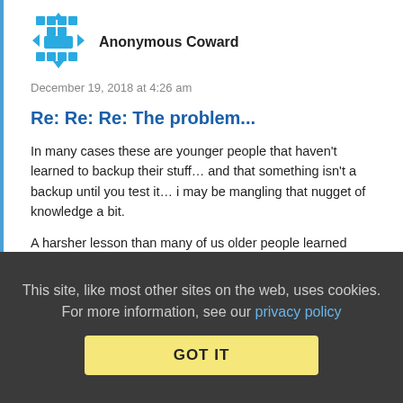[Figure (illustration): Anonymous Coward avatar icon — blue pixel art style grid/network icon]
Anonymous Coward
December 19, 2018 at 4:26 am
Re: Re: Re: The problem...
In many cases these are younger people that haven't learned to backup their stuff… and that something isn't a backup until you test it… i may be mangling that nugget of knowledge a bit.
A harsher lesson than many of us older people learned when we lost our precious floppies filled with 50x50pixel heavily compressed porn images when everyone together loses years and upon years of unbackedup work.
But yes, clouds aren't the problem. It's trusting the cloud to
This site, like most other sites on the web, uses cookies. For more information, see our privacy policy
GOT IT